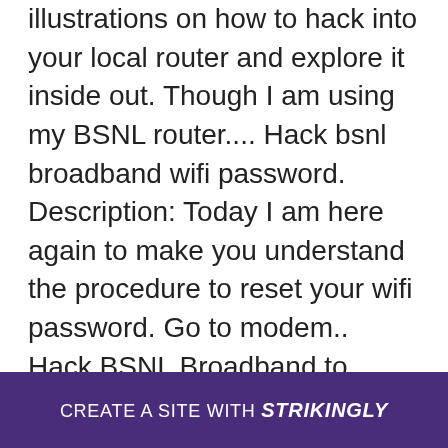article, I will walk you through step by step illustrations on how to hack into your local router and explore it inside out. Though I am using my BSNL router.... Hack bsnl broadband wifi password. Description: Today I am here again to make you understand the procedure to reset your wifi password. Go to modem.. Hack BSNL Broadband to Increase speed. BSNL Internet is most famous Internet Broadband connection service in India. Its not only due to its ready availability.... How to Increase Download Speed of BSNL Broadband? Generally, every Windows operating system reserves 20% of the bandwidth provided by.... This is the most effictive and the most prominent way to hack                                                     at that y                                                                         bsnl
[Figure (other): Purple banner overlay at the bottom of the page with text 'CREATE A SITE WITH strikingly' in white, strikingly in bold italic]